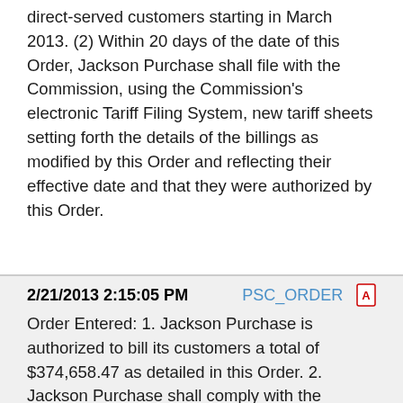direct-served customers starting in March 2013. (2) Within 20 days of the date of this Order, Jackson Purchase shall file with the Commission, using the Commission's electronic Tariff Filing System, new tariff sheets setting forth the details of the billings as modified by this Order and reflecting their effective date and that they were authorized by this Order.
2/21/2013 2:15:05 PM   PSC_ORDER
Order Entered: 1. Jackson Purchase is authorized to bill its customers a total of $374,658.47 as detailed in this Order. 2. Jackson Purchase shall comply with the